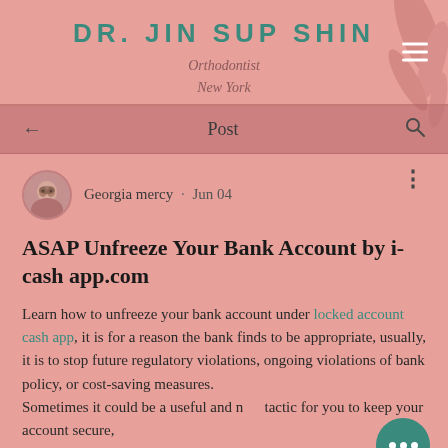DR. JIN SUP SHIN
Orthodontist
New York
← Post 🔍
Georgia mercy · Jun 04
ASAP Unfreeze Your Bank Account by i-cash app.com
Learn how to unfreeze your bank account under locked account cash app, it is for a reason the bank finds to be appropriate, usually, it is to stop future regulatory violations, ongoing violations of bank policy, or cost-saving measures.
Sometimes it could be a useful and new tactic for you to keep your account secure,